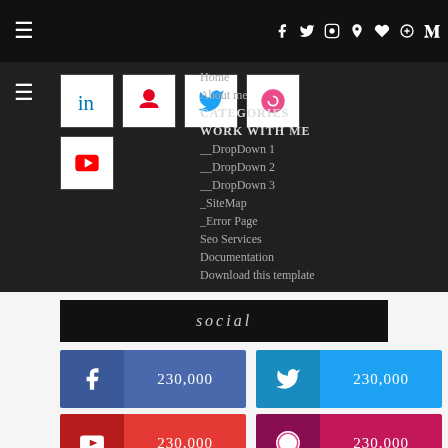Navigation bar with social icons: f, twitter, instagram, pinterest, heart, g+, t
[Figure (screenshot): Dropdown navigation menu overlay showing: Home, About me, CATEGORIES, WORK WITH ME, __DropDown 1, __DropDown 2, __DropDown 3, _SiteMap, _Error Page, Seo Services, Documentation, Download this template]
[Figure (illustration): Row of social media icon boxes: LinkedIn, Pinterest, Twitter, and another; below a YouTube icon box]
social
[Figure (infographic): Facebook social counter card showing 230,000]
[Figure (infographic): Twitter social counter card showing 230,000]
[Figure (infographic): YouTube social counter card showing 230,000]
[Figure (infographic): Dribbble social counter card showing 230,000]
[Figure (infographic): RSS social counter card showing 230,000]
[Figure (infographic): Google+ social counter card showing 230,000]